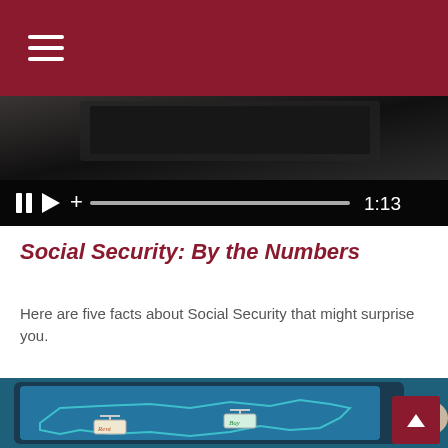[Navigation menu bar with hamburger icon]
[Figure (screenshot): Video player showing a dark background scene with playback controls (pause, play, plus buttons), a progress bar, and a time display of 1:13]
Social Security: By the Numbers
Here are five facts about Social Security that might surprise you.
[Figure (photo): A person holding a tablet displaying a map of the United States with 'Rent' and 'Buy' real estate signs overlaid on different regions of the country]